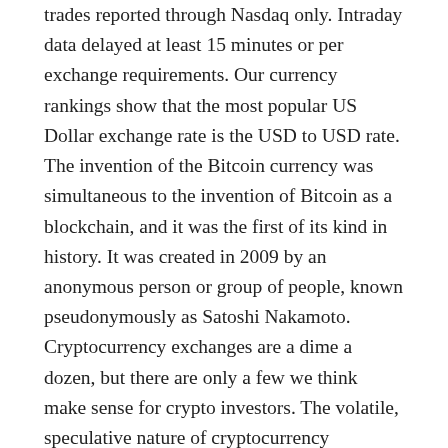trades reported through Nasdaq only. Intraday data delayed at least 15 minutes or per exchange requirements. Our currency rankings show that the most popular US Dollar exchange rate is the USD to USD rate. The invention of the Bitcoin currency was simultaneous to the invention of Bitcoin as a blockchain, and it was the first of its kind in history. It was created in 2009 by an anonymous person or group of people, known pseudonymously as Satoshi Nakamoto. Cryptocurrency exchanges are a dime a dozen, but there are only a few we think make sense for crypto investors. The volatile, speculative nature of cryptocurrency investing presents risks for investors no matter how and where you buy it. They are secure, but more susceptible to hacking than cold storage, which is when you store crypto offline on a piece of hardware. Think of cold storage as kind of like a safe in USB-drive format. It's more secure, but if you